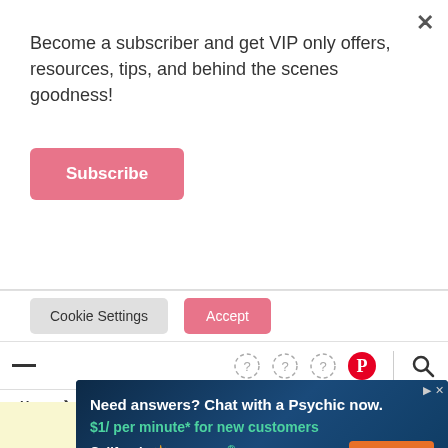Become a subscriber and get VIP only offers, resources, tips, and behind the scenes goodness!
Subscribe
Cookie Settings    Accept
[Figure (screenshot): Navigation bar with hamburger menu icon on left, social media circle icons, Pinterest icon, divider, and search icon on right]
Home > Family > Things We've Learned in Our First 10 Years of Marriage
[Figure (screenshot): Yellow banner advertisement area]
[Figure (screenshot): California Psychics advertisement: 'Need answers? Chat with a Psychic now. $1/ per minute* for new customers' with Sign up now button. *20 minutes purchase required]